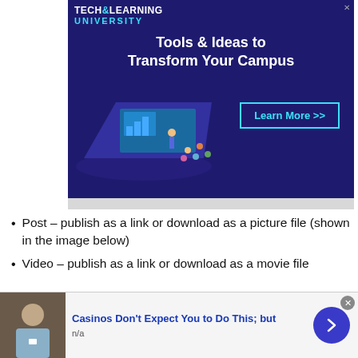[Figure (illustration): Tech & Learning University advertisement banner with dark blue/purple background showing a laptop with people presenting and attending. Text reads 'Tools & Ideas to Transform Your Campus' with a 'Learn More >>' button.]
Post – publish as a link or download as a picture file (shown in the image below)
Video – publish as a link or download as a movie file
[Figure (illustration): Bottom advertisement: 'Casinos Don't Expect You to Do This; but' with a photo of a man in a light blue shirt, n/a label, and a blue arrow button.]